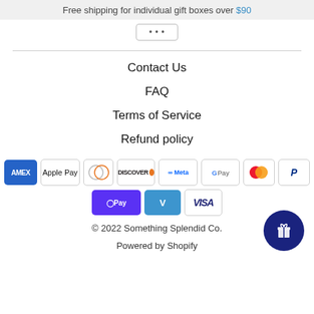Free shipping for individual gift boxes over $90
[Figure (screenshot): Partially visible button stub with text]
Contact Us
FAQ
Terms of Service
Refund policy
[Figure (infographic): Payment method icons: American Express, Apple Pay, Diners Club, Discover, Meta Pay, Google Pay, Mastercard, PayPal, Shop Pay, Venmo, Visa]
© 2022 Something Splendid Co.
Powered by Shopify